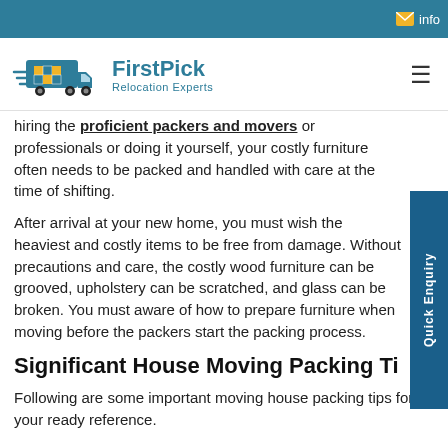info
[Figure (logo): FirstPick Relocation Experts logo with a moving truck icon and colorful grid squares]
hiring the proficient packers and movers or professionals or doing it yourself, your costly furniture often needs to be packed and handled with care at the time of shifting.
After arrival at your new home, you must wish the heaviest and costly items to be free from damage. Without precautions and care, the costly wood furniture can be grooved, upholstery can be scratched, and glass can be broken. You must aware of how to prepare furniture when moving before the packers start the packing process.
Significant House Moving Packing Ti...
Following are some important moving house packing tips for your ready reference.